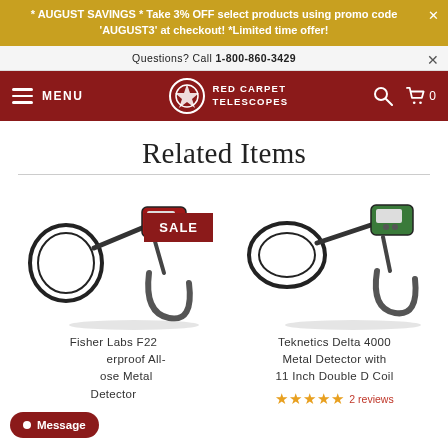* AUGUST SAVINGS * Take 3% OFF select products using promo code 'AUGUST3' at checkout! *Limited time offer!
Questions? Call 1-800-860-3429
MENU | RED CARPET TELESCOPES | 0
Related Items
[Figure (photo): Fisher Labs F22 metal detector with round coil, display unit, and U-shaped handle. SALE badge overlaid.]
Fisher Labs F22 Weatherproof All-Purpose Metal Detector
[Figure (photo): Teknetics Delta 4000 metal detector with oval coil, green display unit, and ergonomic handle.]
Teknetics Delta 4000 Metal Detector with 11 Inch Double D Coil
2 reviews